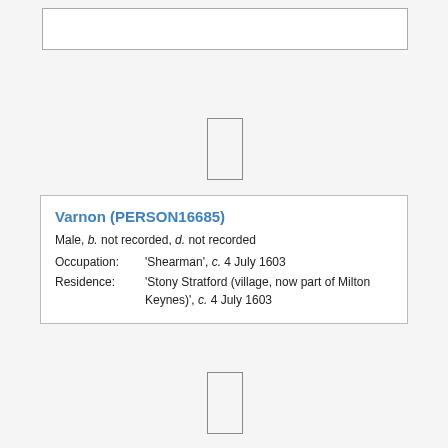[Figure (other): Empty white rectangle box at top of page]
[Figure (other): Small empty rectangle in middle area]
Varnon (PERSON16685)
Male, b. not recorded, d. not recorded
Occupation: 'Shearman', c. 4 July 1603
Residence: 'Stony Stratford (village, now part of Milton Keynes)', c. 4 July 1603
[Figure (other): Small empty rectangle at bottom of page]